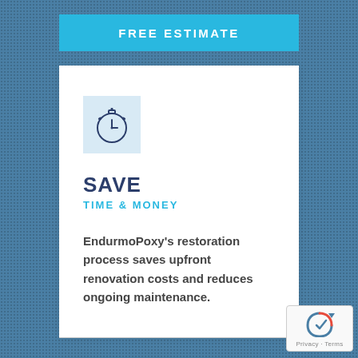FREE ESTIMATE
[Figure (illustration): Stopwatch / timer icon in dark blue outline on a light blue square background]
SAVE
TIME & MONEY
EndurmoPoxy's restoration process saves upfront renovation costs and reduces ongoing maintenance.
[Figure (logo): Google reCAPTCHA badge with Privacy and Terms links]